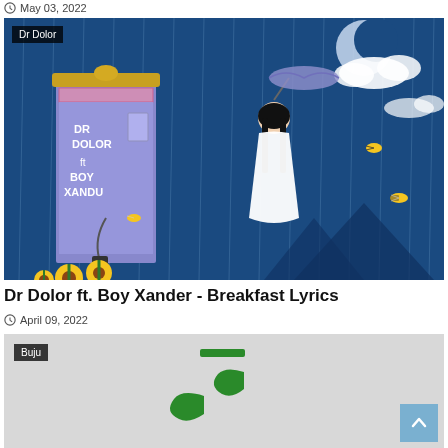May 03, 2022
[Figure (illustration): Album artwork for Dr Dolor ft. Boy Xander - Breakfast. Shows a cartoon girl in a white dress holding a purple umbrella, standing in rain under a blue night sky. A decorative door on the left has 'DR DOLOR ft BOY XANDU' written on it. Sunflowers at bottom left, bees flying around, clouds and moon visible. Label 'Dr Dolor' in top-left corner.]
Dr Dolor ft. Boy Xander - Breakfast Lyrics
April 09, 2022
[Figure (illustration): Partial album/music artwork on a grey background showing a green musical note symbol. Label 'Buju' in top-left corner.]